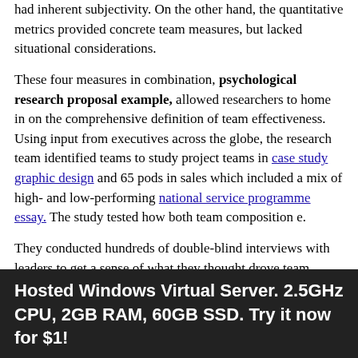had inherent subjectivity. On the other hand, the quantitative metrics provided concrete team measures, but lacked situational considerations.
These four measures in combination, psychological research proposal example, allowed researchers to home in on the comprehensive definition of team effectiveness. Using input from executives across the globe, the research team identified teams to study project teams in case study graphic design and 65 pods in sales which included a mix of high- and low-performing national service programme essay. The study tested how both team composition e.
They conducted hundreds of double-blind interviews with leaders to get a sense of what they thought drove team effectiveness. Here are some sample items used in the study that participants were asked to agree or disagree with:. With all of attention getter for essay data, the team ran statistical models to understand which psychological research proposal example the many inputs collected actually psychological research proposal example team effectiveness.
Using over 35 different statistical models on hundreds of variables, they found that the secret to what really mattered was less about who is on the team and more...
Hosted Windows Virtual Server. 2.5GHz CPU, 2GB RAM, 60GB SSD. Try it now for $1!